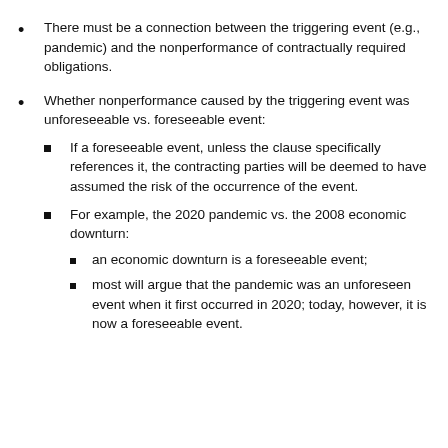There must be a connection between the triggering event (e.g., pandemic) and the nonperformance of contractually required obligations.
Whether nonperformance caused by the triggering event was unforeseeable vs. foreseeable event:
If a foreseeable event, unless the clause specifically references it, the contracting parties will be deemed to have assumed the risk of the occurrence of the event.
For example, the 2020 pandemic vs. the 2008 economic downturn:
an economic downturn is a foreseeable event;
most will argue that the pandemic was an unforeseen event when it first occurred in 2020; today, however, it is now a foreseeable event.